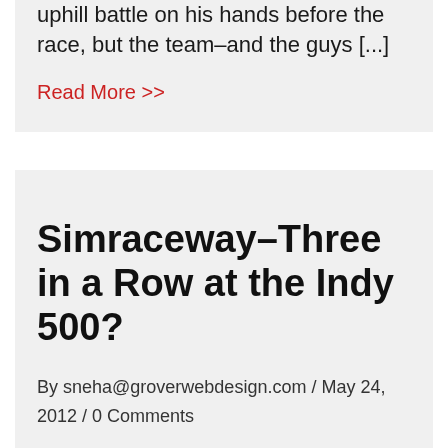uphill battle on his hands before the race, but the team–and the guys [...]
Read More >>
Simraceway–Three in a Row at the Indy 500?
By sneha@groverwebdesign.com / May 24, 2012 / 0 Comments
With the world-famous Indianapolis 500 only a few